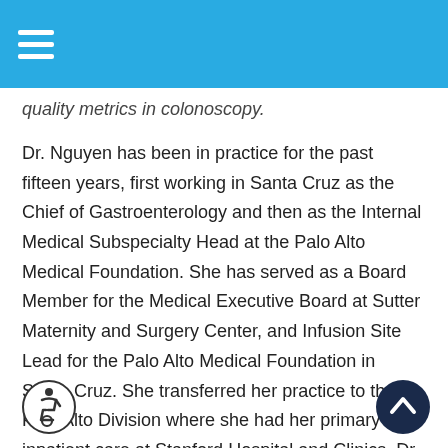quality metrics in colonoscopy.
Dr. Nguyen has been in practice for the past fifteen years, first working in Santa Cruz as the Chief of Gastroenterology and then as the Internal Medical Subspecialty Head at the Palo Alto Medical Foundation. She has served as a Board Member for the Medical Executive Board at Sutter Maternity and Surgery Center, and Infusion Site Lead for the Palo Alto Medical Foundation in Santa Cruz. She transferred her practice to the Palo Alto Division where she had her primary inpatient care at Stanford Hospital and Clinics. Dr. Nguyen is a member of the ASGE and AGA.
Dr. Nguyen has been closely involved with the San Mateo Medical Center and Ravenswood Clinic in a consultative role in the LEAP Institute, advising the
[Figure (illustration): Accessibility wheelchair icon in a circle]
[Figure (illustration): Back to top button - dark navy circle with upward chevron arrow]